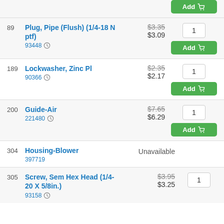Add button (top partial)
89 Plug, Pipe (Flush) (1/4-18 N ptf) 93448 | $3.35 $3.09 | Qty: 1 | Add
189 Lockwasher, Zinc Pl 90366 | $2.35 $2.17 | Qty: 1 | Add
200 Guide-Air 221480 | $7.65 $6.29 | Qty: 1 | Add
304 Housing-Blower 397719 | Unavailable
305 Screw, Sem Hex Head (1/4-20 X 5/8in.) 93158 | $3.95 $3.25 | Qty: 1